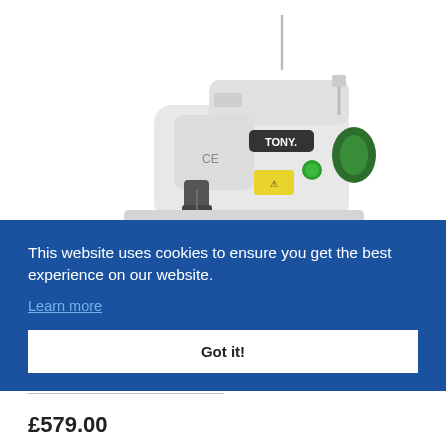[Figure (photo): A white Tony-branded industrial blind stitch sewing machine with CE mark, green bobbin holder, and yellow warning label, shown on a white background.]
This website uses cookies to ensure you get the best experience on our website.
Learn more
Got it!
ony CR-500 Blind Hem Machine
£579.00